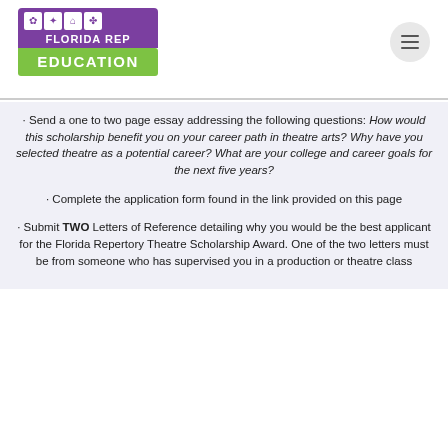[Figure (logo): Florida Rep Education logo with purple top and green Education bar]
· Send a one to two page essay addressing the following questions: How would this scholarship benefit you on your career path in theatre arts? Why have you selected theatre as a potential career? What are your college and career goals for the next five years?
· Complete the application form found in the link provided on this page
· Submit TWO Letters of Reference detailing why you would be the best applicant for the Florida Repertory Theatre Scholarship Award. One of the two letters must be from someone who has supervised you in a production or theatre class